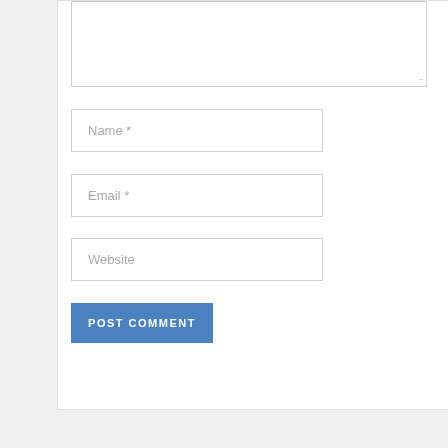[Figure (screenshot): A web comment form partial view showing a textarea (partially visible at top), followed by three input fields labeled Name *, Email *, and Website, and a blue POST COMMENT submit button.]
Name *
Email *
Website
POST COMMENT